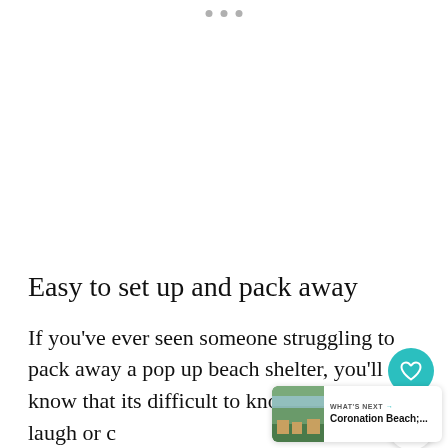[Figure (other): Three navigation dots at top center of page (carousel indicator)]
Easy to set up and pack away
If you've ever seen someone struggling to pack away a pop up beach shelter, you'll know that its difficult to know whether to laugh or c
[Figure (other): Teal circular heart/favourite button]
[Figure (other): White circular share button with share icon]
[Figure (other): What's Next card showing Coronation Beach thumbnail and label 'WHAT'S NEXT → Coronation Beach;...']